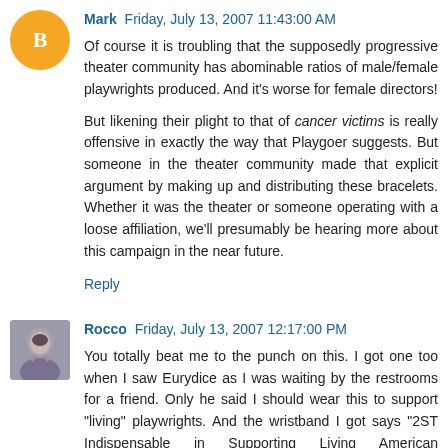Mark  Friday, July 13, 2007 11:43:00 AM
Of course it is troubling that the supposedly progressive theater community has abominable ratios of male/female playwrights produced. And it's worse for female directors!
But likening their plight to that of cancer victims is really offensive in exactly the way that Playgoer suggests. But someone in the theater community made that explicit argument by making up and distributing these bracelets. Whether it was the theater or someone operating with a loose affiliation, we'll presumably be hearing more about this campaign in the near future.
Reply
Rocco  Friday, July 13, 2007 12:17:00 PM
You totally beat me to the punch on this. I got one too when I saw Eurydice as I was waiting by the restrooms for a friend. Only he said I should wear this to support "living" playwrights. And the wristband I got says "2ST Indispensable in Supporting Living American Playwrights".